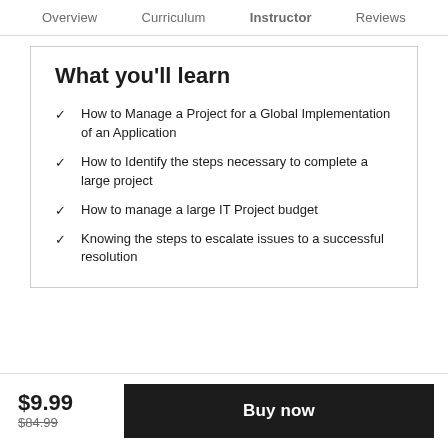Overview   Curriculum   Instructor   Reviews
What you'll learn
How to Manage a Project for a Global Implementation of an Application
How to Identify the steps necessary to complete a large project
How to manage a large IT Project budget
Knowing the steps to escalate issues to a successful resolution
$9.99
$84.99
Buy now